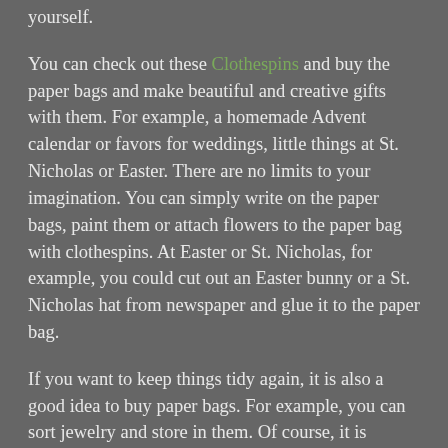yourself.
You can check out these Clothespins and buy the paper bags and make beautiful and creative gifts with them. For example, a homemade Advent calendar or favors for weddings, little things at St. Nicholas or Easter. There are no limits to your imagination. You can simply write on the paper bags, paint them or attach flowers to the paper bag with clothespins. At Easter or St. Nicholas, for example, you could cut out an Easter bunny or a St. Nicholas hat from newspaper and glue it to the paper bag.
If you want to keep things tidy again, it is also a good idea to buy paper bags. For example, you can sort jewelry and store in them. Of course, it is especially nice if you then decorate the bags accordingly, for example, paint a ring on the bag with rings. In the kitchen, you can store insensitive spices that retain their aroma in these small paper bags. The paper bags are of course suitable for storing everything that is small and wants to be organized.